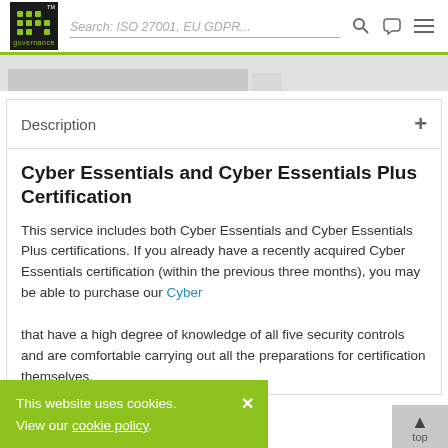IT Governance | Search: ISO 27001, EU GDPR...
Description +
Cyber Essentials and Cyber Essentials Plus Certification
This service includes both Cyber Essentials and Cyber Essentials Plus certifications. If you already have a recently acquired Cyber Essentials certification (within the previous three months), you may be able to purchase our Cyber [Essentials Plus standalone service]... that have a high degree of knowledge of all five security controls and are comfortable carrying out all the preparations for certification themselves.
This website uses cookies. View our cookie policy.